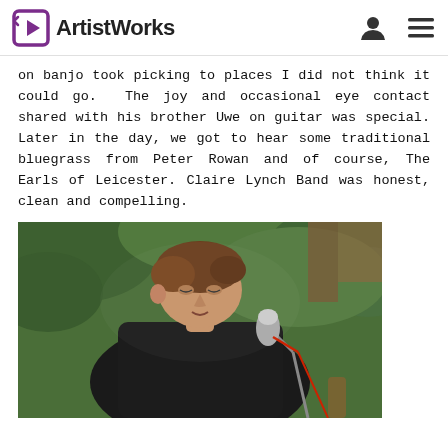ArtistWorks
on banjo took picking to places I did not think it could go.  The joy and occasional eye contact shared with his brother Uwe on guitar was special. Later in the day, we got to hear some traditional bluegrass from Peter Rowan and of course, The Earls of Leicester. Claire Lynch Band was honest, clean and compelling.
[Figure (photo): A middle-aged man with brown hair wearing a dark jacket, singing or performing near a microphone stand, with green foliage visible in the background. Appears to be an outdoor music performance.]